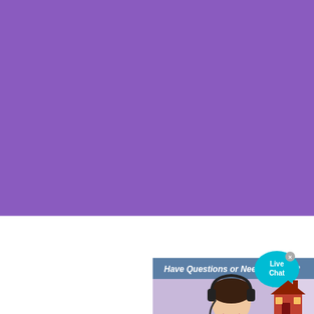Indian Crusher In Dubai Stone Crusher Machine. Crusher part dubai india Crusher Parts Dubai India Stonemarket indian crusher in dubai indian crusher in dubai indian crusher in dubai If you want to get more detailed product information and prices ZME reme Send an Inquiry 727 Online stone crusher spares parts equipments in dubai.
Contact us
[Figure (screenshot): Live chat popup overlay showing a customer service representative with headset, a banner 'Have Questions or Need a Quote?', a CHAT NOW button, and a Live Chat bubble icon.]
[Figure (illustration): House/home icon in red and brown at bottom right corner of the page.]